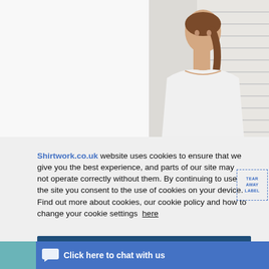[Figure (photo): Screenshot of Shirtwork.co.uk website showing a woman in a white top in the background, with a cookie consent overlay modal in the foreground. The modal has a light grey background and contains cookie policy text and an OK button. A 'Tear Away Label' badge appears on the right. At the bottom is a chat bar saying 'Click here to chat with us'.]
Shirtwork.co.uk website uses cookies to ensure that we give you the best experience, and parts of our site may not operate correctly without them. By continuing to use the site you consent to the use of cookies on your device. Find out more about cookies, our cookie policy and how to change your cookie settings here
OK
TEAR AWAY LABEL
Click here to chat with us